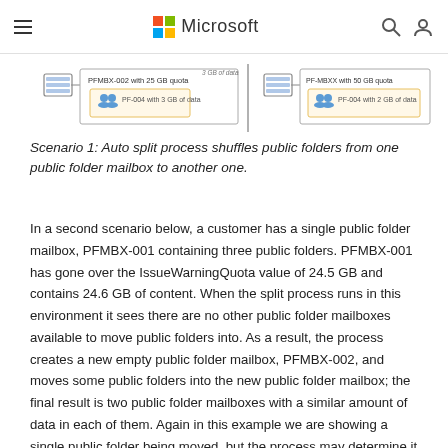Microsoft
[Figure (screenshot): Diagram showing public folder mailboxes (PFMBX-002 with 25 GB quota, 3 GB of data) and public folders (PF-004 with 3 GB of data on left, PF-004 with 2 GB of data on right).]
Scenario 1: Auto split process shuffles public folders from one public folder mailbox to another one.
In a second scenario below, a customer has a single public folder mailbox, PFMBX-001 containing three public folders. PFMBX-001 has gone over the IssueWarningQuota value of 24.5 GB and contains 24.6 GB of content. When the split process runs in this environment it sees there are no other public folder mailboxes available to move public folders into. As a result, the process creates a new empty public folder mailbox, PFMBX-002, and moves some public folders into the new public folder mailbox; the final result is two public folder mailboxes with a similar amount of data in each of them. Again in this example we are showing a single public folder being moved, but the process may determine it has to move many